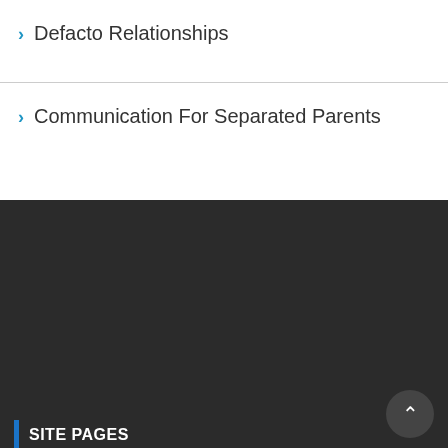Defacto Relationships
Communication For Separated Parents
SITE PAGES
Home
About Us
Testimonials
Helpful Information
Privacy Statement